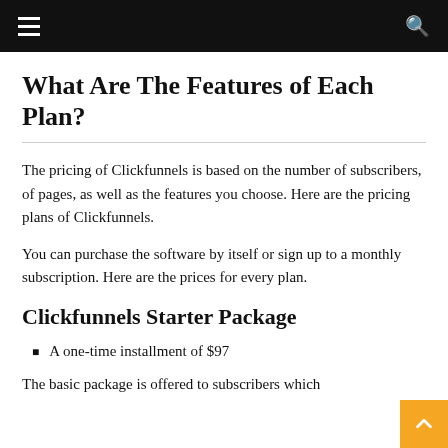What Are The Features of Each Plan?
The pricing of Clickfunnels is based on the number of subscribers, of pages, as well as the features you choose. Here are the pricing plans of Clickfunnels.
You can purchase the software by itself or sign up to a monthly subscription. Here are the prices for every plan.
Clickfunnels Starter Package
A one-time installment of $97
The basic package is offered to subscribers which